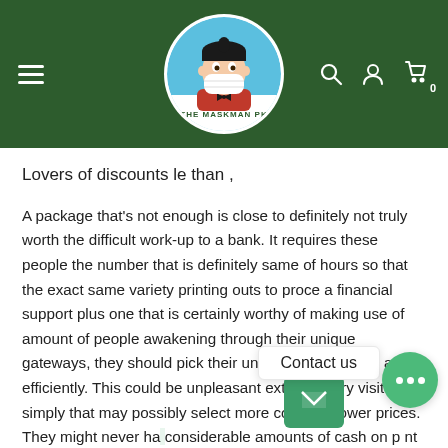[Figure (logo): Website header with dark green background. Hamburger menu icon on the left, circular logo in the center showing an animated character wearing a face mask with text 'THE MASKMAN PK', search icon, user icon, and cart icon with '0' badge on the right.]
Lovers of discounts le than ,
A package that's not enough is close to definitely not truly worth the difficult work-up to a bank. It requires these people the number that is definitely same of hours so that the exact same variety printing outs to proce a financial support plus one that is certainly worthy of making use of amount of people awakening through their unique gateways, they should pick their unique offers quickly and efficiently. This could be unpleasant extraordinary visitors simply that may possibly select more compact lower prices. They might never ha considerable amounts of cash on p nt wn to the low amount of probability. That payday loans Pikeville TN is where acquiring acce to folks loan provider is useful